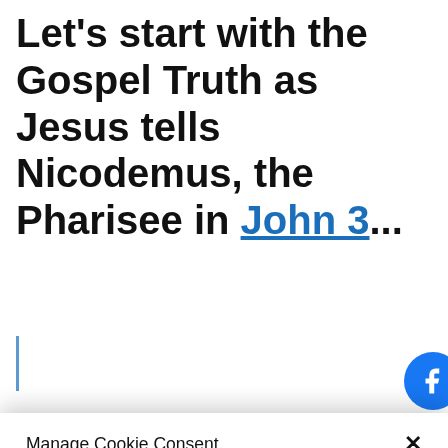Let's start with the Gospel Truth as Jesus tells Nicodemus, the Pharisee in John 3...
Manage Cookie Consent
To provide the best experiences, we use technologies like cookies to store and/or access device information. Consenting to these technologies will allow us to process data such as browsing behavior or unique IDs on this site. Not consenting or withdrawing consent, may adversely affect certain features and functions.
Accept
English
kie Policy